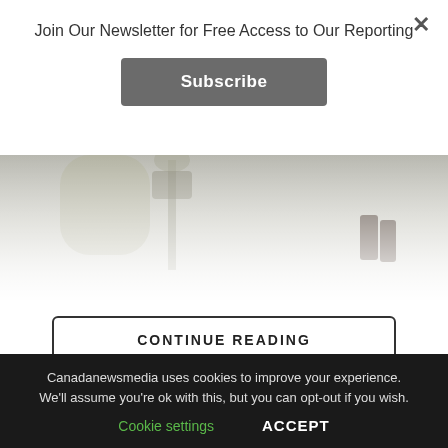Join Our Newsletter for Free Access to Our Reporting
Subscribe
[Figure (photo): A wintry outdoor scene showing a person's legs in boots and a lamppost or tree in snowy, foggy conditions.]
CONTINUE READING
ART
F... Y... of K... ... ... of Si...
Canadanewsmedia uses cookies to improve your experience. We'll assume you're ok with this, but you can opt-out if you wish.
Cookie settings
ACCEPT